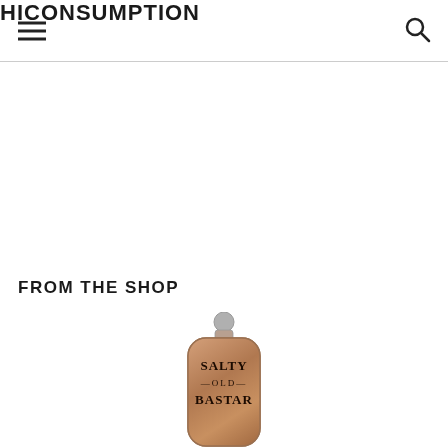HICONSUMPTION
FROM THE SHOP
[Figure (photo): A copper/bronze hip flask with a rounded rectangular body and silver ball cap, with the text 'SALTY OLD BASTARD' engraved/printed on it, partially visible]